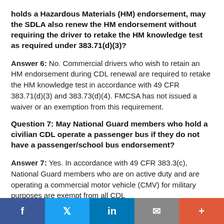holds a Hazardous Materials (HM) endorsement, may the SDLA also renew the HM endorsement without requiring the driver to retake the HM knowledge test as required under 383.71(d)(3)?
Answer 6: No. Commercial drivers who wish to retain an HM endorsement during CDL renewal are required to retake the HM knowledge test in accordance with 49 CFR 383.71(d)(3) and 383.73(d)(4). FMCSA has not issued a waiver or an exemption from this requirement.
Question 7: May National Guard members who hold a civilian CDL operate a passenger bus if they do not have a passenger/school bus endorsement?
Answer 7: Yes. In accordance with 49 CFR 383.3(c), National Guard members who are on active duty and are operating a commercial motor vehicle (CMV) for military purposes are exempt from all CDL